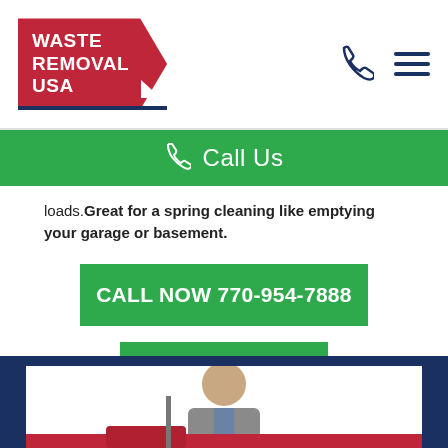Waste Removal USA
Call Us
loads. Great for a spring cleaning like emptying your garage or basement.
CALL NOW 770-954-7888
Get A Quote
[Figure (photo): Employee standing in front of a red dumpster truck]